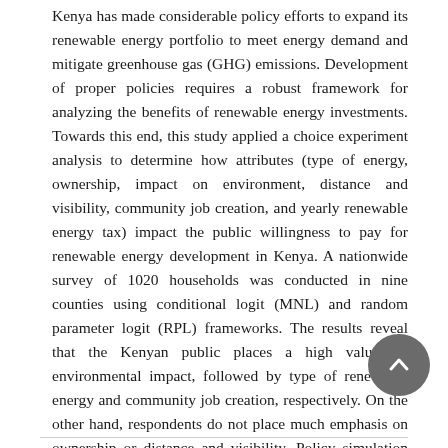Kenya has made considerable policy efforts to expand its renewable energy portfolio to meet energy demand and mitigate greenhouse gas (GHG) emissions. Development of proper policies requires a robust framework for analyzing the benefits of renewable energy investments. Towards this end, this study applied a choice experiment analysis to determine how attributes (type of energy, ownership, impact on environment, distance and visibility, community job creation, and yearly renewable energy tax) impact the public willingness to pay for renewable energy development in Kenya. A nationwide survey of 1020 households was conducted in nine counties using conditional logit (MNL) and random parameter logit (RPL) frameworks. The results reveal that the Kenyan public places a high value on environmental impact, followed by type of renewable energy and community job creation, respectively. On the other hand, respondents do not place much emphasis on ownership or distance and visibility. Policy simulation suggests that while renewable energy adoption is highly valued by households, the total willingness to pay is not enough to cover the higher capital cost for the development of various renewable energy technologies.